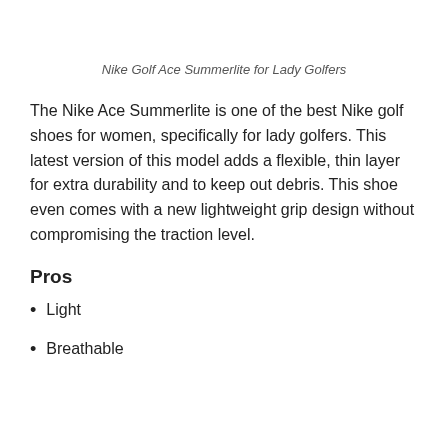Nike Golf Ace Summerlite for Lady Golfers
The Nike Ace Summerlite is one of the best Nike golf shoes for women, specifically for lady golfers. This latest version of this model adds a flexible, thin layer for extra durability and to keep out debris. This shoe even comes with a new lightweight grip design without compromising the traction level.
Pros
Light
Breathable